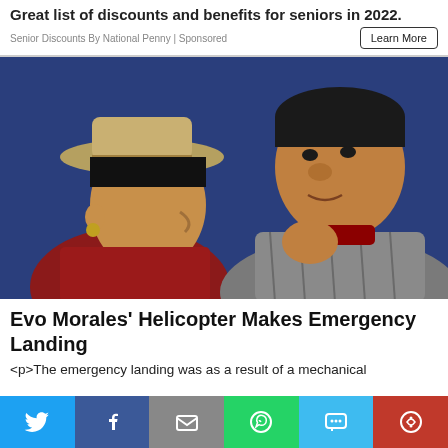Great list of discounts and benefits for seniors in 2022.
Senior Discounts By National Penny | Sponsored
[Figure (photo): Two people in conversation against a blue background. A woman on the left wearing a hat and traditional clothing, and a man on the right in a plaid jacket.]
Evo Morales' Helicopter Makes Emergency Landing
<p>The emergency landing was as a result of a mechanical